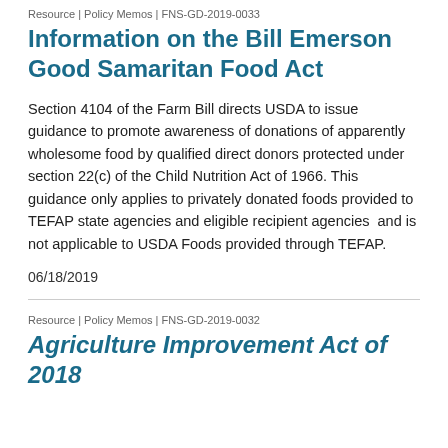Resource | Policy Memos | FNS-GD-2019-0033
Information on the Bill Emerson Good Samaritan Food Act
Section 4104 of the Farm Bill directs USDA to issue guidance to promote awareness of donations of apparently wholesome food by qualified direct donors protected under section 22(c) of the Child Nutrition Act of 1966. This guidance only applies to privately donated foods provided to TEFAP state agencies and eligible recipient agencies  and is not applicable to USDA Foods provided through TEFAP.
06/18/2019
Resource | Policy Memos | FNS-GD-2019-0032
Agriculture Improvement Act of 2018